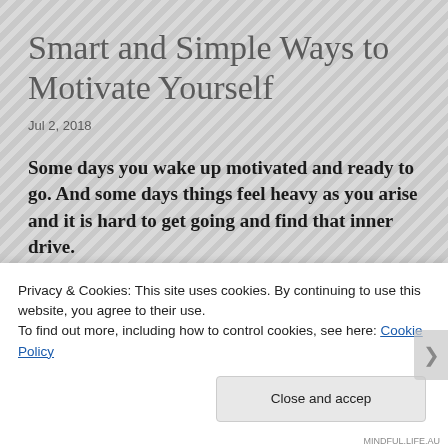Smart and Simple Ways to Motivate Yourself
Jul 2, 2018
Some days you wake up motivated and ready to go. And some days things feel heavy as you arise and it is hard to get going and find that inner drive.
[Figure (photo): Blurred indoor photo visible at top of page, partially obscured by cookie consent banner]
Privacy & Cookies: This site uses cookies. By continuing to use this website, you agree to their use.
To find out more, including how to control cookies, see here: Cookie Policy
Close and accep